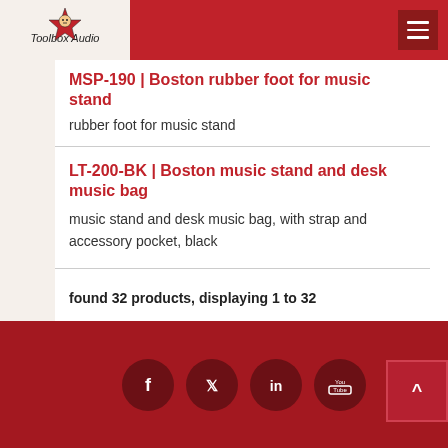Toolbox Audio — Navigation header with logo and hamburger menu
MSP-190 | Boston rubber foot for music stand
rubber foot for music stand
LT-200-BK | Boston music stand and desk music bag
music stand and desk music bag, with strap and accessory pocket, black
found 32 products, displaying 1 to 32
Social media icons: Facebook, Twitter, LinkedIn, YouTube. Back to top button.